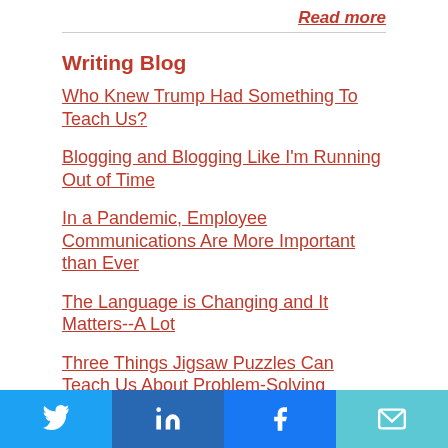Read more
Writing Blog
Who Knew Trump Had Something To Teach Us?
Blogging and Blogging Like I'm Running Out of Time
In a Pandemic, Employee Communications Are More Important than Ever
The Language is Changing and It Matters--A Lot
Three Things Jigsaw Puzzles Can Teach Us About Problem-Solving
Read more